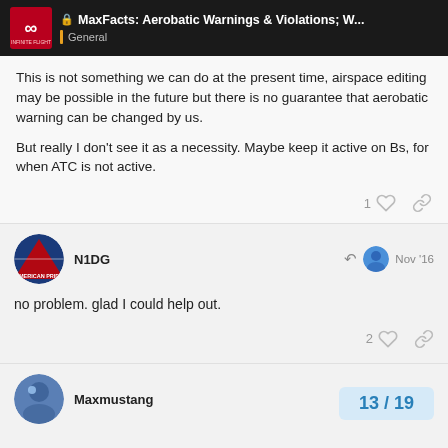MaxFacts: Aerobatic Warnings & Violations; W... | General
This is not something we can do at the present time, airspace editing may be possible in the future but there is no guarantee that aerobatic warning can be changed by us.

But really I don't see it as a necessity. Maybe keep it active on Bs, for when ATC is not active.
N1DG  Nov '16
no problem. glad I could help out.
Maxmustang  13 / 19